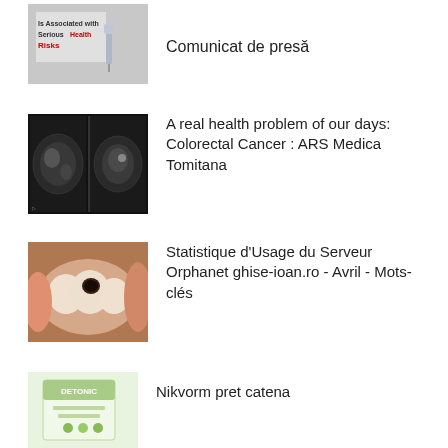Comunicat de presă
A real health problem of our days: Colorectal Cancer : ARS Medica Tomitana
Statistique d'Usage du Serveur Orphanet ghise-ioan.ro - Avril - Mots-clés
Nikvorm pret catena